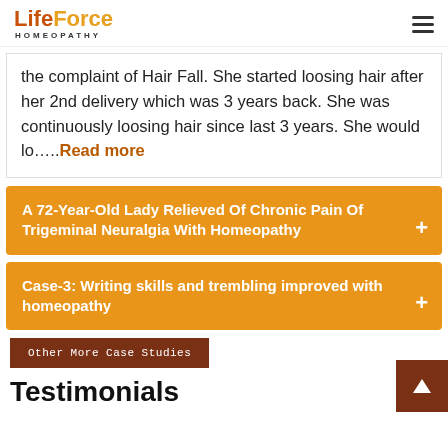LifeForce HOMEOPATHY
the complaint of Hair Fall. She started loosing hair after her 2nd delivery which was 3 years back. She was continuously loosing hair since last 3 years. She would lo…..Read more
A 72-Year-Old Lady Relieved Of Chronic Pain Of Trigeminal Neuralgia With Homeopathy +
Case-3: Writing skills and trembling improved with homeopathy +
Other More Case Studies
Testimonials